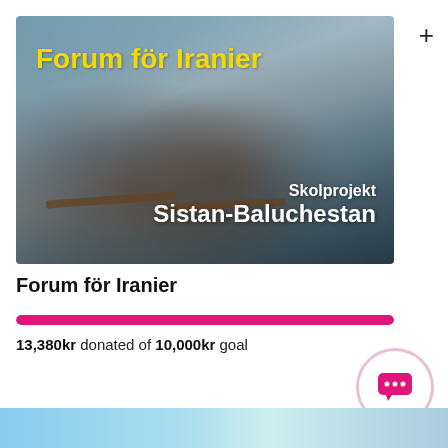[Figure (photo): Photo of children sitting at desks in a classroom in Sistan-Baluchestan, Iran. Yellow bold text overlay reads 'Forum för Iranier' at top left. White bold text overlay reads 'Skolprojekt' and 'Sistan-Baluchestan' at bottom right.]
Forum för Iranier
[Figure (infographic): Full pink/magenta progress bar indicating fundraising goal exceeded (13,380kr donated of 10,000kr goal)]
13,380kr donated of 10,000kr goal
[Figure (illustration): Chat bubble icon inside a circle with light pink border]
[Figure (photo): Partial photo visible at bottom of page, appears to be another image cropped at page edge]